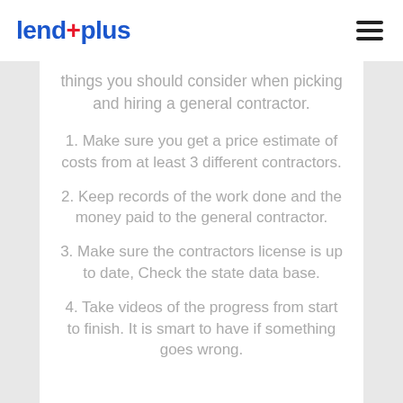lend+plus
things you should consider when picking and hiring a general contractor.
1. Make sure you get a price estimate of costs from at least 3 different contractors.
2. Keep records of the work done and the money paid to the general contractor.
3. Make sure the contractors license is up to date, Check the state data base.
4. Take videos of the progress from start to finish. It is smart to have if something goes wrong.